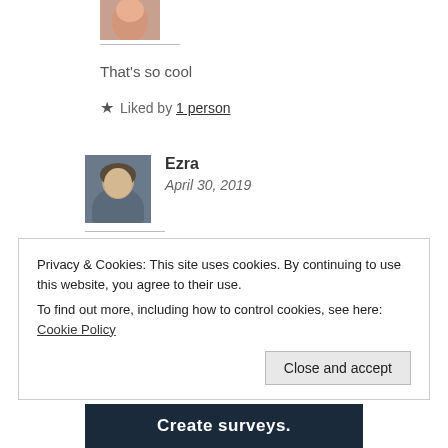[Figure (photo): Small avatar photo of a person (partial, top cropped)]
That's so cool
★ Liked by 1 person
[Figure (photo): Avatar photo of Ezra, a young man with curly hair]
Ezra
April 30, 2019
Yep!
Privacy & Cookies: This site uses cookies. By continuing to use this website, you agree to their use.
To find out more, including how to control cookies, see here: Cookie Policy
Close and accept
Create surveys.